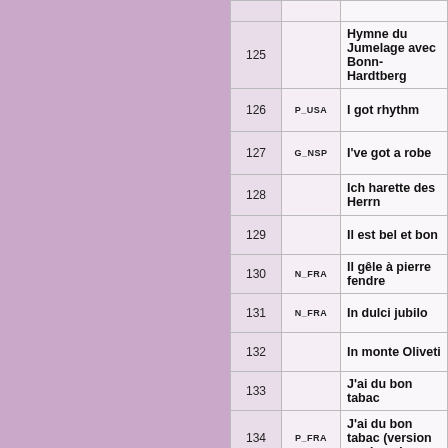| # | Code | Title |
| --- | --- | --- |
| 125 |  | Hymne du Jumelage avec Bonn-Hardtberg |
| 126 | P_USA | I got rhythm |
| 127 | G_NSP | I've got a robe |
| 128 |  | Ich harette des Herrn |
| 129 |  | Il est bel et bon |
| 130 | N_FRA | Il gêle à pierre fendre |
| 131 | N_FRA | In dulci jubilo |
| 132 |  | In monte Oliveti |
| 133 |  | J'ai du bon tabac |
| 134 | P_FRA | J'ai du bon tabac (version moderne) |
| 135 | M_CRE | Je crois Seigneur |
| 136 |  | Jesu salvator mundi 3 vx |